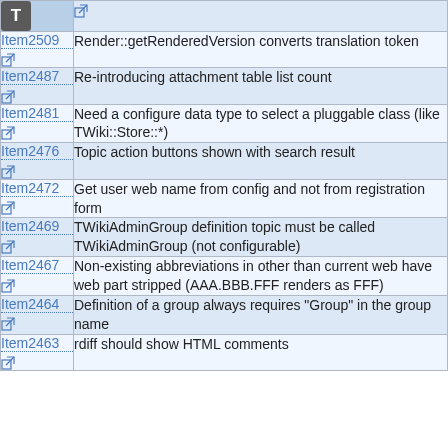|  |  |
| --- | --- |
| T icon |  |
| Item2509 | Render::getRenderedVersion converts translation token |
| Item2487 | Re-introducing attachment table list count |
| Item2481 | Need a configure data type to select a pluggable class (like TWiki::Store::*) |
| Item2476 | Topic action buttons shown with search result |
| Item2472 | Get user web name from config and not from registration form |
| Item2469 | TWikiAdminGroup definition topic must be called TWikiAdminGroup (not configurable) |
| Item2467 | Non-existing abbreviations in other than current web have web part stripped (AAA.BBB.FFF renders as FFF) |
| Item2464 | Definition of a group always requires "Group" in the group name |
| Item2463 | rdiff should show HTML comments |